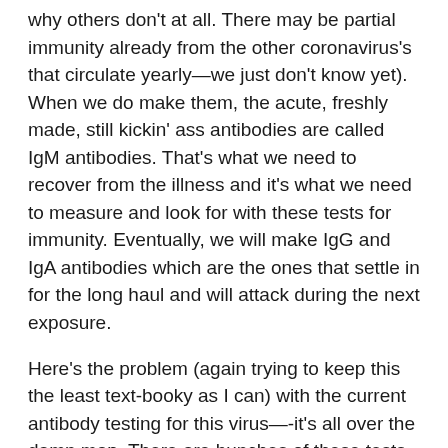why others don't at all. There may be partial immunity already from the other coronavirus's that circulate yearly—we just don't know yet). When we do make them, the acute, freshly made, still kickin' ass antibodies are called IgM antibodies. That's what we need to recover from the illness and it's what we need to measure and look for with these tests for immunity. Eventually, we will make IgG and IgA antibodies which are the ones that settle in for the long haul and will attack during the next exposure.
Here's the problem (again trying to keep this the least text-booky as I can) with the current antibody testing for this virus—-it's all over the damn map. There are bunches of these tests coming out. Different companies. Different parameters. Who knows all the differences. And exactly ZERO of them